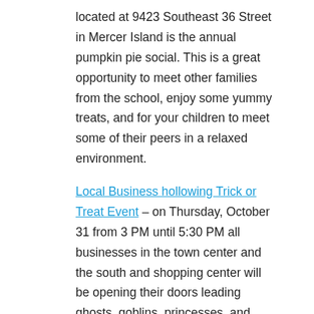located at 9423 Southeast 36 Street in Mercer Island is the annual pumpkin pie social. This is a great opportunity to meet other families from the school, enjoy some yummy treats, and for your children to meet some of their peers in a relaxed environment.
Local Business hollowing Trick or Treat Event – on Thursday, October 31 from 3 PM until 5:30 PM all businesses in the town center and the south and shopping center will be opening their doors leading ghosts, goblins, princesses, and devils trick-or-treat at their business. This is the 10th annual trick-or-treat event and it is something fun for the entire family if you don't really want to travel too far for Halloween events.